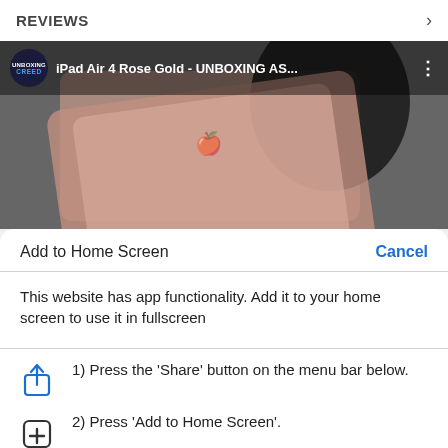REVIEWS
[Figure (screenshot): YouTube video thumbnail for 'iPad Air 4 Rose Gold - UNBOXING AS...' by Unboxing Creed channel, showing a rose gold iPad being unboxed by a gloved hand, with a red YouTube play button overlay.]
Add to Home Screen   Cancel
This website has app functionality. Add it to your home screen to use it in fullscreen
1) Press the 'Share' button on the menu bar below.
2) Press 'Add to Home Screen'.